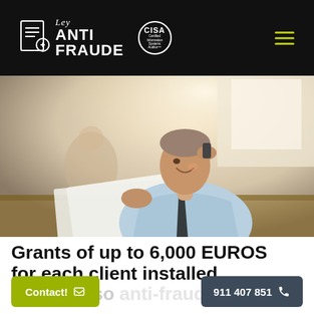Ley ANTI FRAUDE | CISA Certified Information Systems Auditor
[Figure (photo): Business man in light blue shirt and dark tie, smiling while talking on phone and reviewing documents at a desk. Another person blurred in background.]
Grants of up to 6,000 EUROS for each client installed at billing so anti-fraud law audit
Contact!
911 407 851